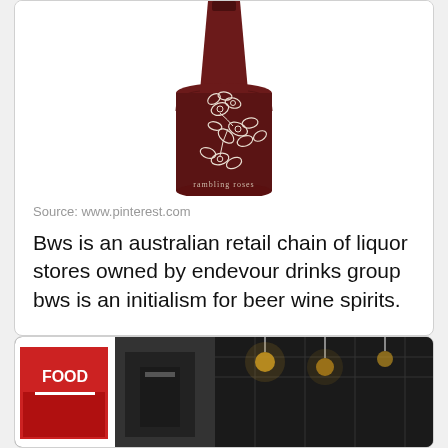[Figure (photo): A dark red wine bottle with white floral (rambling roses) etched design, labeled 'rambling roses' at the bottom]
Source: www.pinterest.com
Bws is an australian retail chain of liquor stores owned by endevour drinks group bws is an initialism for beer wine spirits.
[Figure (photo): Partial view of store/restaurant interior with a FOOD sign visible and interior lighting]